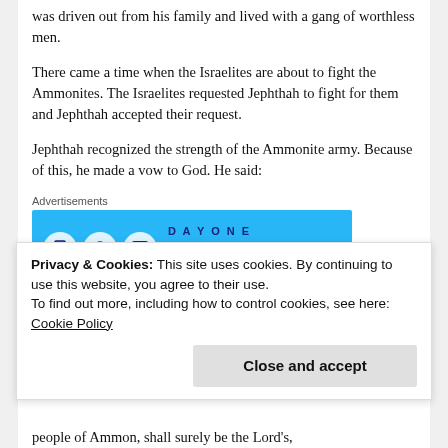was driven out from his family and lived with a gang of worthless men.
There came a time when the Israelites are about to fight the Ammonites. The Israelites requested Jephthah to fight for them and Jephthah accepted their request.
Jephthah recognized the strength of the Ammonite army. Because of this, he made a vow to God. He said:
Advertisements
[Figure (other): Day One journaling app advertisement banner with blue background and app icons]
Privacy & Cookies: This site uses cookies. By continuing to use this website, you agree to their use.
To find out more, including how to control cookies, see here: Cookie Policy
people of Ammon, shall surely be the Lord's,